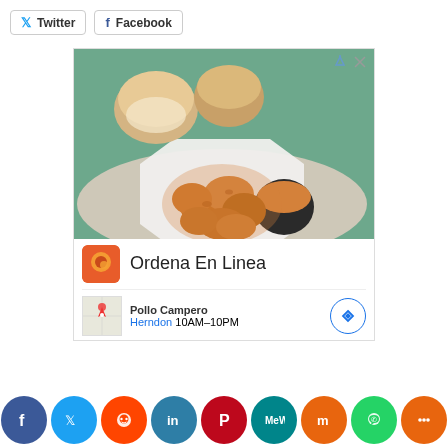[Figure (screenshot): Twitter and Facebook share buttons at top left]
[Figure (infographic): Advertisement for Pollo Campero Ordena En Linea, showing fried chicken nuggets on a plate with dipping sauce and bread rolls, with location info for Herndon 10AM-10PM]
[Figure (infographic): Bottom social media sharing bar with icons for Facebook, Twitter, Reddit, LinkedIn, Pinterest, MeWe, Mix, WhatsApp, and a share button]